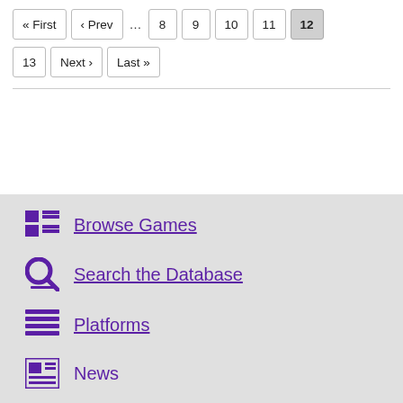« First  ‹ Prev  ...  8  9  10  11  12  13  Next ›  Last »
Browse Games
Search the Database
Platforms
News